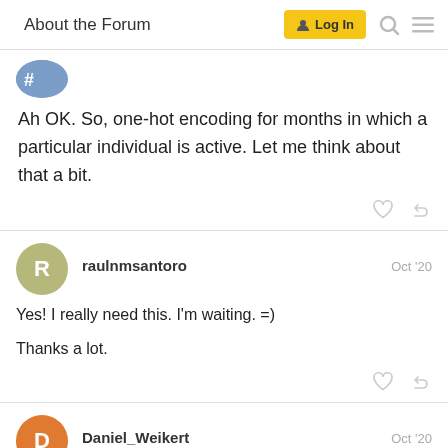About the Forum | Log In
[Figure (illustration): Partial user avatar image (blue/grey pattern) at top left]
Ah OK. So, one-hot encoding for months in which a particular individual is active. Let me think about that a bit.
raulnmsantoro  Oct '20
Yes! I really need this. I'm waiting. =)

Thanks a lot.
Daniel_Weikert  Oct '20
can you attach a sample file. Then it might be easier to help